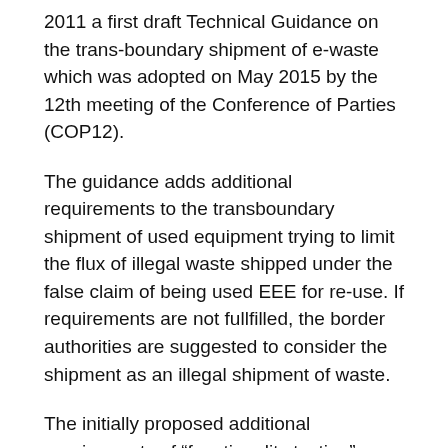2011 a first draft Technical Guidance on the trans-boundary shipment of e-waste which was adopted on May 2015 by the 12th meeting of the Conference of Parties (COP12).
The guidance adds additional requirements to the transboundary shipment of used equipment trying to limit the flux of illegal waste shipped under the false claim of being used EEE for re-use. If requirements are not fullfilled, the border authorities are suggested to consider the shipment as an illegal shipment of waste.
The initially proposed additional requirements of “functionality testing” would harm in particular refurbishment  activities of medical devices.
COCIR has been participating from the very